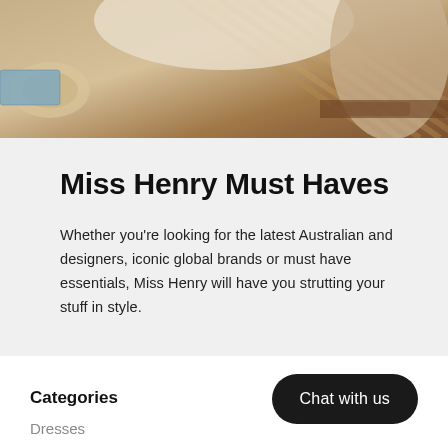[Figure (photo): Fashion lifestyle photo showing a person wearing cream/beige clothing with a woven hat and brown accessories, styled in a warm summery setting]
Miss Henry Must Haves
Whether you're looking for the latest Australian and designers, iconic global brands or must have essentials, Miss Henry will have you strutting your stuff in style.
Chat with us
Categories
Dresses